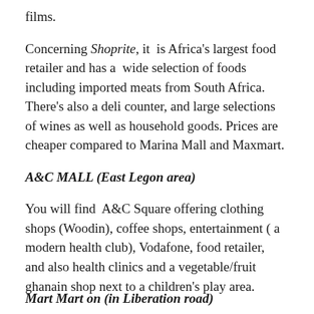films.
Concerning Shoprite, it is Africa's largest food retailer and has a wide selection of foods including imported meats from South Africa. There's also a deli counter, and large selections of wines as well as household goods. Prices are cheaper compared to Marina Mall and Maxmart.
A&C MALL (East Legon area)
You will find A&C Square offering clothing shops (Woodin), coffee shops, entertainment ( a modern health club), Vodafone, food retailer, and also health clinics and a vegetable/fruit ghanain shop next to a children's play area.
Mart Mart on (in Liberation road)